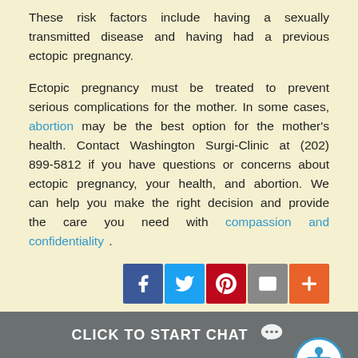These risk factors include having a sexually transmitted disease and having had a previous ectopic pregnancy.
Ectopic pregnancy must be treated to prevent serious complications for the mother. In some cases, abortion may be the best option for the mother's health. Contact Washington Surgi-Clinic at (202) 899-5812 if you have questions or concerns about ectopic pregnancy, your health, and abortion. We can help you make the right decision and provide the care you need with compassion and confidentiality .
[Figure (other): Social sharing buttons: Facebook, Twitter, Pinterest, Email, More (+)]
[Figure (other): Accessibility icon button (person with circle)]
CLICK TO START CHAT